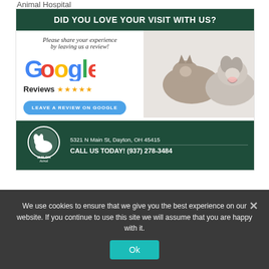Animal Hospital
[Figure (infographic): Google Reviews promotional banner for Shiloh Animal Hospital. Top dark green bar reads 'DID YOU LOVE YOUR VISIT WITH US?'. Below: left side has italic text 'Please share your experience by leaving us a review!', Google logo, 'Reviews' with 5 gold stars, and a blue button 'LEAVE A REVIEW ON GOOGLE'. Right side shows a photo of a cat and a husky dog. Bottom dark green bar shows Shiloh Animal Hospital logo with dog silhouette, address '5321 N Main St, Dayton, OH 45415', and 'CALL US TODAY! (937) 278-3484'.]
Review Us Shiloh Animal Hospital
We use cookies to ensure that we give you the best experience on our website. If you continue to use this site we will assume that you are happy with it.